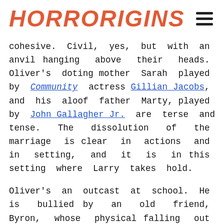HorrOrigins
cohesive. Civil, yes, but with an anvil hanging above their heads. Oliver's doting mother Sarah played by Community actress Gillian Jacobs, and his aloof father Marty, played by John Gallagher Jr. are terse and tense. The dissolution of the marriage is clear in actions and in setting, and it is in this setting where Larry takes hold.

Oliver's an outcast at school. He is bullied by an old friend, Byron, whose physical falling out with Oliver has not only affected Byron as a whole but Sarah's relationship with Byron's mother, outcasting her as well. As the bullies center around a noncommunicative